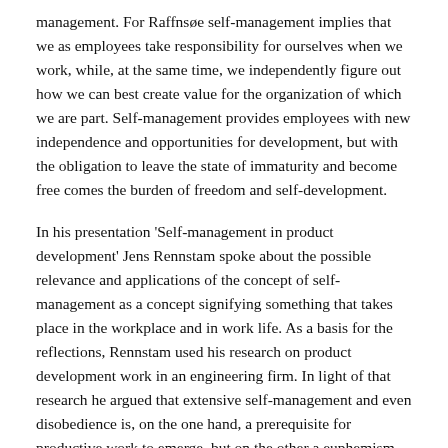management. For Raffnsøe self-management implies that we as employees take responsibility for ourselves when we work, while, at the same time, we independently figure out how we can best create value for the organization of which we are part. Self-management provides employees with new independence and opportunities for development, but with the obligation to leave the state of immaturity and become free comes the burden of freedom and self-development.
In his presentation 'Self-management in product development' Jens Rennstam spoke about the possible relevance and applications of the concept of self-management as a concept signifying something that takes place in the workplace and in work life. As a basis for the reflections, Rennstam used his research on product development work in an engineering firm. In light of that research he argued that extensive self-management and even disobedience is, on the one hand, a prerequisite for productive work to emerge, but on the other a euphemism